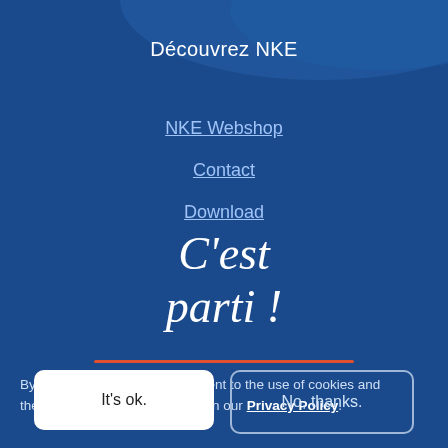Découvrez NKE
NKE Webshop
Contact
Download
C'est parti !
By using this website, you consent to the use of cookies and therefore tracking as described in our Privacy Policy.
It's ok.
No, thanks.